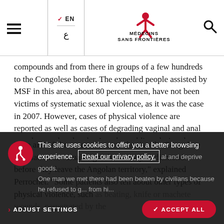MSF Médecins Sans Frontières — EN navigation header with language selector and search
compounds and from there in groups of a few hundreds to the Congolese border. The expelled people assisted by MSF in this area, about 80 percent men, have not been victims of systematic sexual violence, as it was the case in 2007. However, cases of physical violence are reported as well as cases of degrading vaginal and anal searches, undertaken by Angolan soldiers during the expulsion.
"The aim of those searches is to deprive the Congolese population of valuable goods - money or diamonds - before they leave the Angolan territory," explained Perrochet. "Some patients also tell about other types of physical violence, such as beating, knife or machete wounds, perpetrated by the ... [content continues behind overlay] ... al and deprive goods. One man we met there had been beaten by civilians because he refused to give ... from hi...
This site uses cookies to offer you a better browsing experience.  Read our privacy policy.
ADJUST SETTINGS
ACCEPT ALL